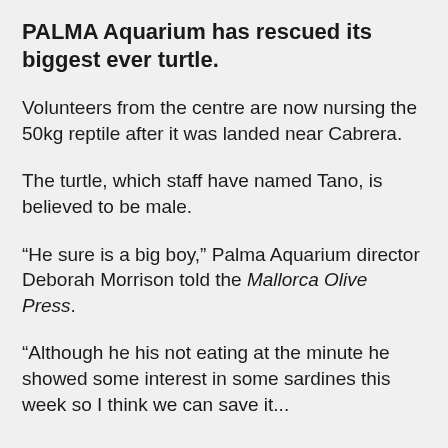PALMA Aquarium has rescued its biggest ever turtle.
Volunteers from the centre are now nursing the 50kg reptile after it was landed near Cabrera.
The turtle, which staff have named Tano, is believed to be male.
“He sure is a big boy,” Palma Aquarium director Deborah Morrison told the Mallorca Olive Press.
“Although he his not eating at the minute he showed some interest in some sardines this week so I think we can save it...